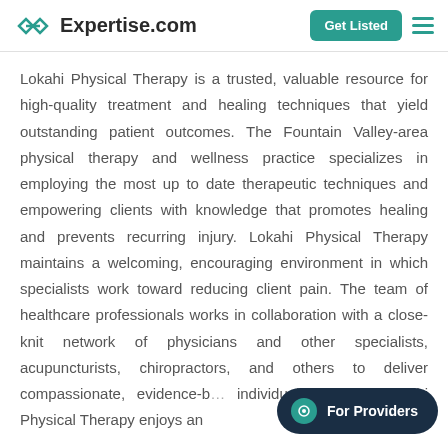Expertise.com | Get Listed
Lokahi Physical Therapy is a trusted, valuable resource for high-quality treatment and healing techniques that yield outstanding patient outcomes. The Fountain Valley-area physical therapy and wellness practice specializes in employing the most up to date therapeutic techniques and empowering clients with knowledge that promotes healing and prevents recurring injury. Lokahi Physical Therapy maintains a welcoming, encouraging environment in which specialists work toward reducing client pain. The team of healthcare professionals works in collaboration with a close-knit network of physicians and other specialists, acupuncturists, chiropractors, and others to deliver compassionate, evidence-b… individualized care. Lokahi Physical Therapy enjoys an